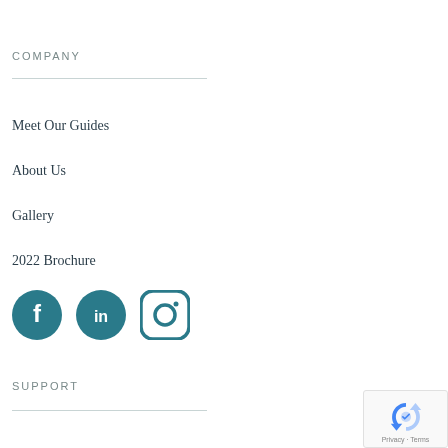COMPANY
Meet Our Guides
About Us
Gallery
2022 Brochure
[Figure (illustration): Three social media icons: Facebook (filled teal circle with f logo), LinkedIn (filled teal circle with in logo), Instagram (teal outlined rounded square with camera icon)]
SUPPORT
[Figure (logo): Google reCAPTCHA badge with blue/grey arrow icon and Privacy - Terms text]